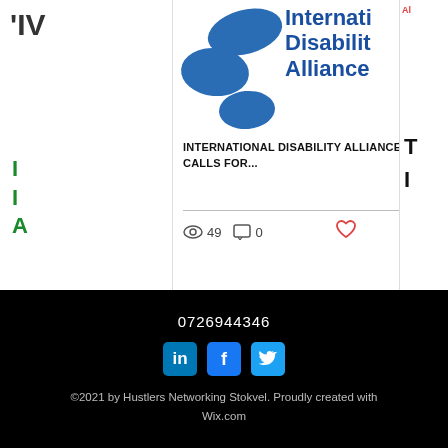[Figure (screenshot): Website screenshot showing blog post cards. Center card features the International Disability Alliance logo (blue ellipse shapes and blue text) and article title 'INTERNATIONAL DISABILITY ALLIANCE CALLS FOR...' with 49 views, 0 comments, and a heart/like button. Pagination dots visible below cards.]
0726944346
©2021 by Hustlers Networking Stokvel. Proudly created with Wix.com